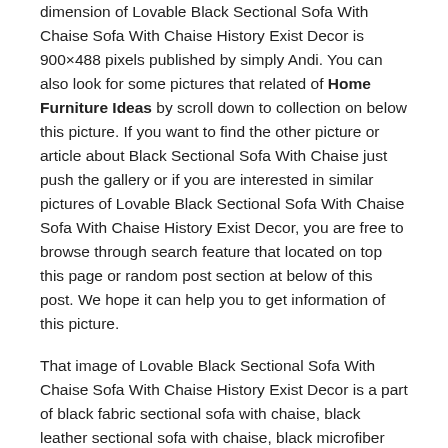dimension of Lovable Black Sectional Sofa With Chaise Sofa With Chaise History Exist Decor is 900×488 pixels published by simply Andi. You can also look for some pictures that related of Home Furniture Ideas by scroll down to collection on below this picture. If you want to find the other picture or article about Black Sectional Sofa With Chaise just push the gallery or if you are interested in similar pictures of Lovable Black Sectional Sofa With Chaise Sofa With Chaise History Exist Decor, you are free to browse through search feature that located on top this page or random post section at below of this post. We hope it can help you to get information of this picture.
That image of Lovable Black Sectional Sofa With Chaise Sofa With Chaise History Exist Decor is a part of black fabric sectional sofa with chaise, black leather sectional sofa with chaise, black microfiber sectional sofa with chaise, and just one of our Picture Collection we have to home furniture ideas in this site. If you're inspired, amazed and charmed by this Lovable Black Sectional Sofa With Chaise Sofa With Chaise History Exist Decor, you can download it by right-clicking it and click save image as. We hope that, by posting this Lovable Black Sectional Sofa With Chaise Sofa With Chaise History Exist Decor, we can fulfill your needs of Ideas for Living Room